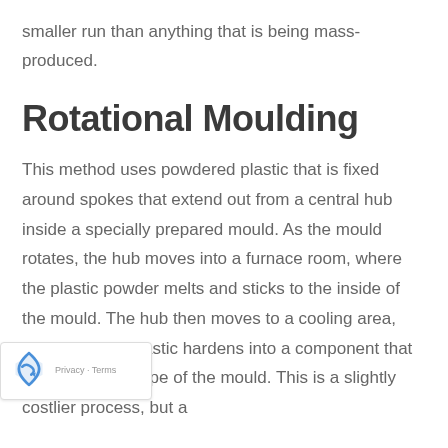smaller run than anything that is being mass-produced.
Rotational Moulding
This method uses powdered plastic that is fixed around spokes that extend out from a central hub inside a specially prepared mould. As the mould rotates, the hub moves into a furnace room, where the plastic powder melts and sticks to the inside of the mould. The hub then moves to a cooling area, where the hot plastic hardens into a component that fits the exact shape of the mould. This is a slightly costlier process, but a